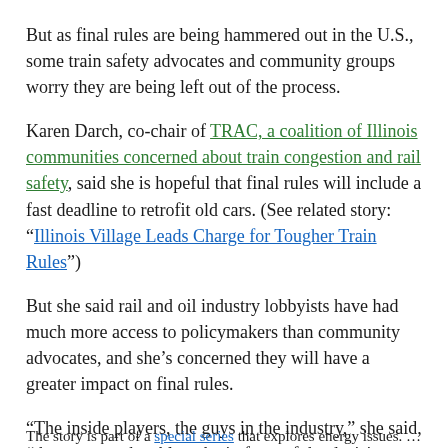But as final rules are being hammered out in the U.S., some train safety advocates and community groups worry they are being left out of the process.
Karen Darch, co-chair of TRAC, a coalition of Illinois communities concerned about train congestion and rail safety, said she is hopeful that final rules will include a fast deadline to retrofit old cars. (See related story: "Illinois Village Leads Charge for Tougher Train Rules")
But she said rail and oil industry lobbyists have had much more access to policymakers than community advocates, and she's concerned they will have a greater impact on final rules.
“The inside players, the guys in the industry,” she said, “they seem to be able to be in front of the decision-makers more than we have been.”
The story is part of a special series that explores energy issues. For